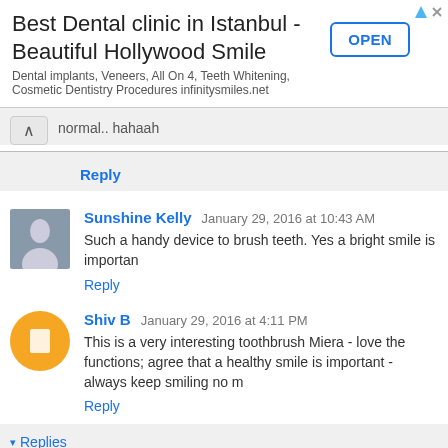[Figure (infographic): Advertisement banner for Best Dental clinic in Istanbul with OPEN button]
normal.. hahaah
Reply
Sunshine Kelly  January 29, 2016 at 10:43 AM
Such a handy device to brush teeth. Yes a bright smile is importan
Reply
Shiv B  January 29, 2016 at 4:11 PM
This is a very interesting toothbrush Miera - love the functions; agree that a healthy smile is important - always keep smiling no m
Reply
▾ Replies